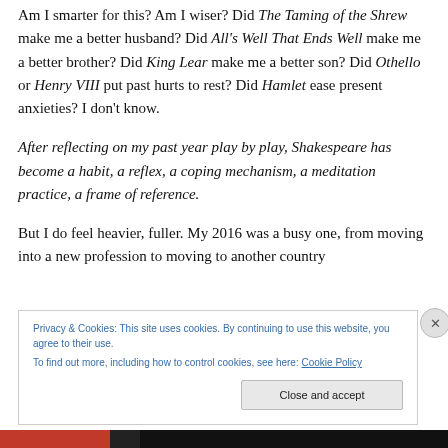Am I smarter for this? Am I wiser? Did The Taming of the Shrew make me a better husband? Did All's Well That Ends Well make me a better brother? Did King Lear make me a better son? Did Othello or Henry VIII put past hurts to rest? Did Hamlet ease present anxieties? I don't know.
After reflecting on my past year play by play, Shakespeare has become a habit, a reflex, a coping mechanism, a meditation practice, a frame of reference.
But I do feel heavier, fuller. My 2016 was a busy one, from moving into a new profession to moving to another country
Privacy & Cookies: This site uses cookies. By continuing to use this website, you agree to their use.
To find out more, including how to control cookies, see here: Cookie Policy